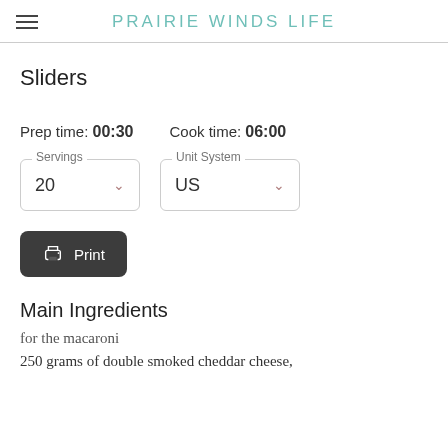Prairie Winds Life
Sliders
Prep time: 00:30   Cook time: 06:00
Servings: 20 | Unit System: US
Print
Main Ingredients
for the macaroni
250 grams of double smoked cheddar cheese,